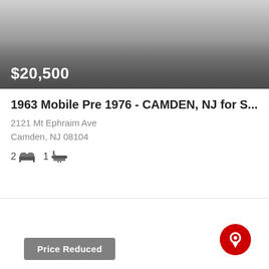[Figure (photo): Property listing image with gray gradient background showing price overlay of $20,500]
1963 Mobile Pre 1976 - CAMDEN, NJ for S...
2121 Mt Ephraim Ave
Camden, NJ 08104
2 bed  1 bath
[Figure (infographic): Map pin icon (red circle with location pin) and Price Reduced badge (gray rounded rectangle with white bold text)]